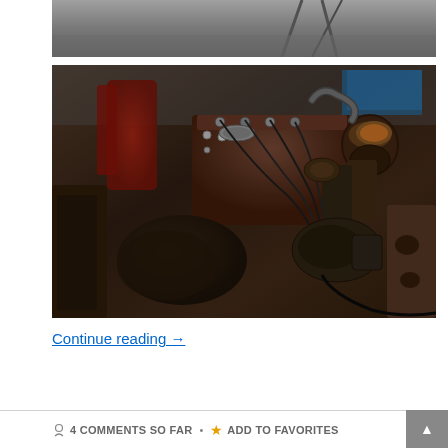[Figure (photo): Partial view of a workshop scene showing a floor and some equipment in the background — top portion of a blog post image.]
[Figure (photo): A rusty vintage engine block with transmission, starter motor, spark plug wires, and other engine components removed from a vehicle, sitting in a workshop.]
Continue reading →
4 COMMENTS SO FAR • ADD TO FAVORITES